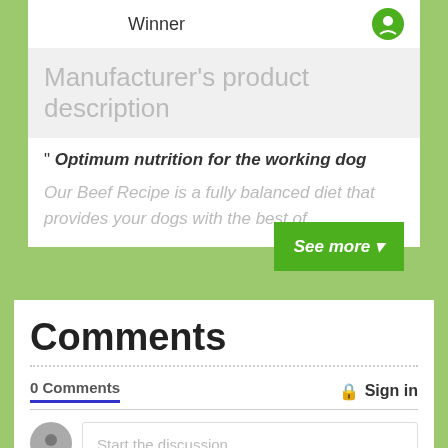Winner
Manufacturer's product description
" Optimum nutrition for the working dog
Our Beef Recipe is a fully balanced diet that provides your dogs with the best of
Comments
0 Comments
Sign in
Start the discussion